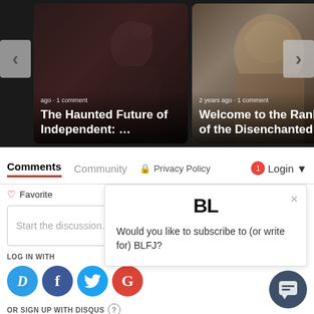[Figure (screenshot): Carousel with two article cards: 'The Haunted Future of Independent: ...' with ago · 1 comment, and 'Welcome to the Ranks of the Disenchanted: ...' with 2 years ago · 1 comment. Left and right navigation arrows visible.]
Comments	Community	🔒 Privacy Policy	🔴1 Login ▼
♡ Favorite
Start the discussion...
LOG IN WITH
[Figure (screenshot): Social login icons: D (Disqus, blue), f (Facebook, dark blue), bird (Twitter, light blue), G (Google, red)]
OR SIGN UP WITH DISQUS ?
BL
Would you like to subscribe to (or write for) BLFJ?